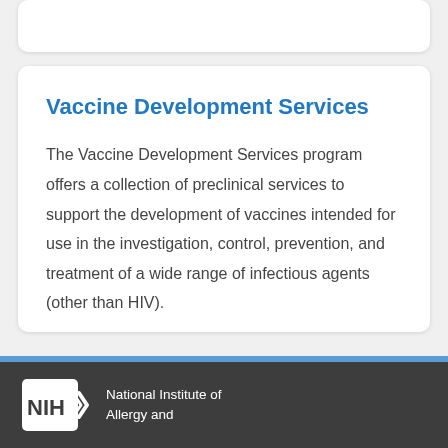Vaccine Development Services
The Vaccine Development Services program offers a collection of preclinical services to support the development of vaccines intended for use in the investigation, control, prevention, and treatment of a wide range of infectious agents (other than HIV).
National Institute of Allergy and